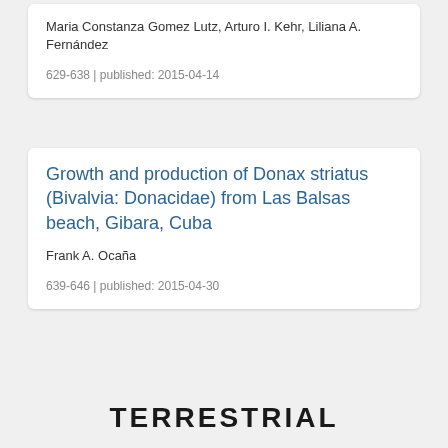Maria Constanza Gomez Lutz, Arturo I. Kehr, Liliana A. Fernández
629-638 | published: 2015-04-14
Growth and production of Donax striatus (Bivalvia: Donacidae) from Las Balsas beach, Gibara, Cuba
Frank A. Ocaña
639-646 | published: 2015-04-30
TERRESTRIAL